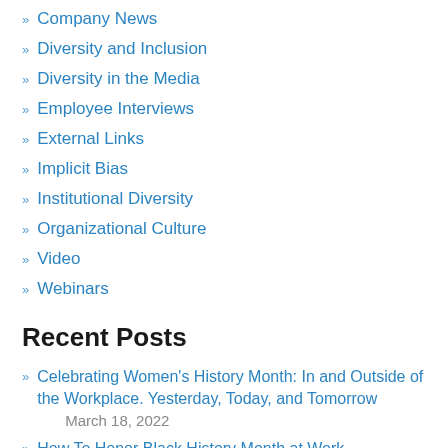Company News
Diversity and Inclusion
Diversity in the Media
Employee Interviews
External Links
Implicit Bias
Institutional Diversity
Organizational Culture
Video
Webinars
Recent Posts
Celebrating Women's History Month: In and Outside of the Workplace. Yesterday, Today, and Tomorrow
March 18, 2022
How To Honor Black History Month at Work
February 2, 2022